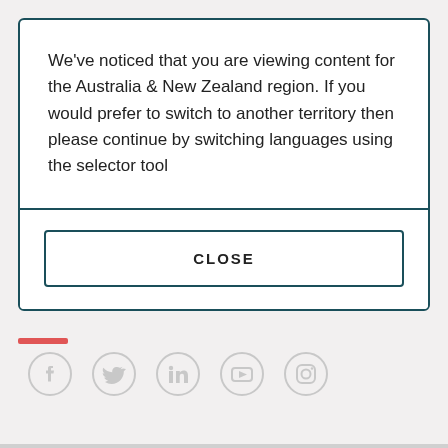We've noticed that you are viewing content for the Australia & New Zealand region. If you would prefer to switch to another territory then please continue by switching languages using the selector tool
CLOSE
[Figure (infographic): Row of five social media icons (Facebook, Twitter, LinkedIn, YouTube, Instagram) in light grey]